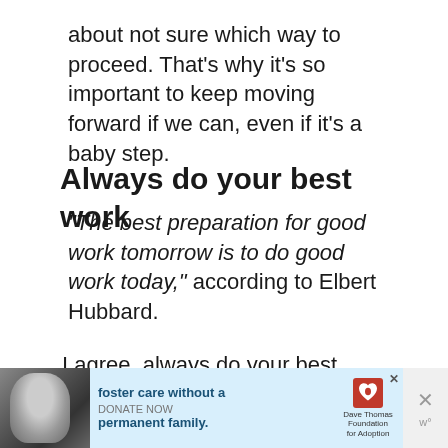about not sure which way to proceed. That's why it's so important to keep moving forward if we can, even if it's a baby step.
Always do your best work
“The best preparation for good work tomorrow is to do good work today,” according to Elbert Hubbard.
I agree, always do your best work. It’s as simple as it sounds, right?
[Figure (other): Advertisement banner for Dave Thomas Foundation for Adoption: foster care without a permanent family, with a DONATE NOW call to action and a photo of a young woman.]